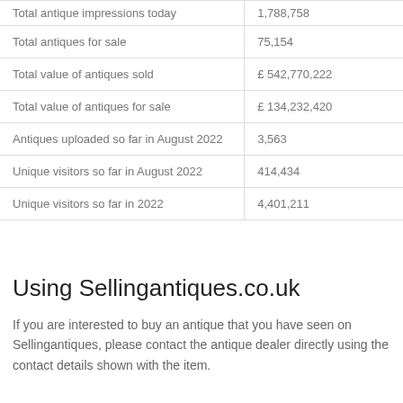|  |  |
| --- | --- |
| Total antique impressions today | 1,788,758 |
| Total antiques for sale | 75,154 |
| Total value of antiques sold | £ 542,770,222 |
| Total value of antiques for sale | £ 134,232,420 |
| Antiques uploaded so far in August 2022 | 3,563 |
| Unique visitors so far in August 2022 | 414,434 |
| Unique visitors so far in 2022 | 4,401,211 |
Using Sellingantiques.co.uk
If you are interested to buy an antique that you have seen on Sellingantiques, please contact the antique dealer directly using the contact details shown with the item.